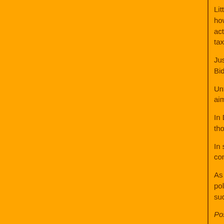Little of any of this is even known in this country, w and new, around the world is of importance, howev Pentagon record available. Not only can it show th imperial efforts globally, it could also act as a tool f Japan, where there at present are 52 and 119 bas seriously question where their tax dollars were rea
Just as there's very little standing in the way of the essentially nothing preventing President Biden fro a process involving congressional authorization fo authorization is needed abroad.
Unfortunately, in this country there is as yet no sig Elsewhere, however, demands and protests aimed from Belgium to Guam, Japan to the United Kingdo within the past few years.
In December 2020, however, even the highest-ran Staff Mark Milley, asked: "Is every one of those [ba United States?"
In short, no. Anything but. Still, as of today, despite remain are likely to play a vital role in any continua expansion of a new Cold War with China.
As Chalmers Johnson warned in 2009, "Few empi to remain independent, self-governing polities… If foreordained." In the end, new bases only mean ne that's hardly a formula for success for American cit
Posted in accordance with Title 17, Section 107, U